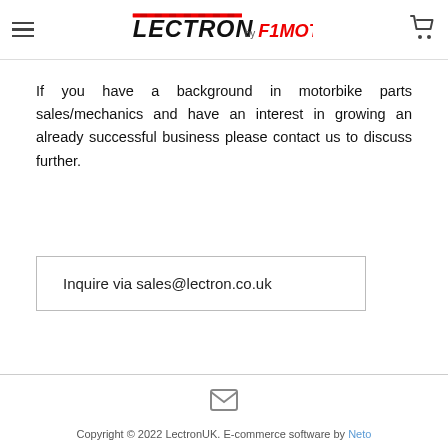Lectron by F1 Moto — navigation header with hamburger menu and cart icon
If you have a background in motorbike parts sales/mechanics and have an interest in growing an already successful business please contact us to discuss further.
Inquire via sales@lectron.co.uk
Copyright © 2022 LectronUK. E-commerce software by Neto